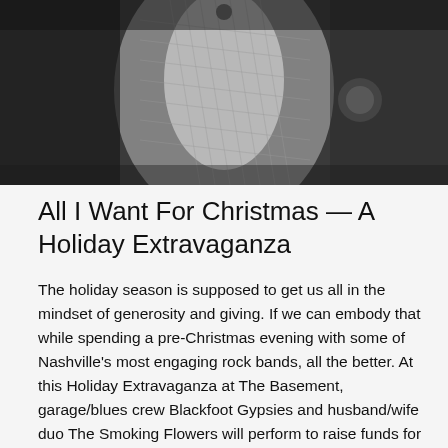[Figure (photo): Black and white photograph showing what appears to be a musical instrument or decorative object with intricate weaving or netting pattern, in close-up view]
All I Want For Christmas — A Holiday Extravaganza
The holiday season is supposed to get us all in the mindset of generosity and giving. If we can embody that while spending a pre-Christmas evening with some of Nashville's most engaging rock bands, all the better. At this Holiday Extravaganza at The Basement, garage/blues crew Blackfoot Gypsies and husband/wife duo The Smoking Flowers will perform to raise funds for Second Harvest Food Bank, who work hard to feed our needy neighbors during the holidays, and the rest of the year too.
When: 9 p.m. Thursday, December 17